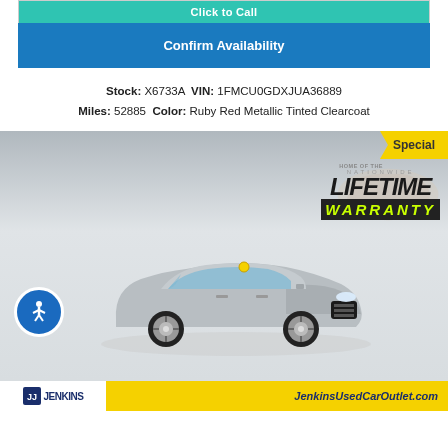Click to Call
Confirm Availability
Stock: X6733A VIN: 1FMCU0GDXJUA36889 Miles: 52885 Color: Ruby Red Metallic Tinted Clearcoat
[Figure (photo): Silver Kia Sportage SUV parked in a dealership photo studio with a gray background, shown from a front three-quarter angle. Nationwide Lifetime Warranty badge in upper right corner. Jenkins Used Car Outlet branding at bottom.]